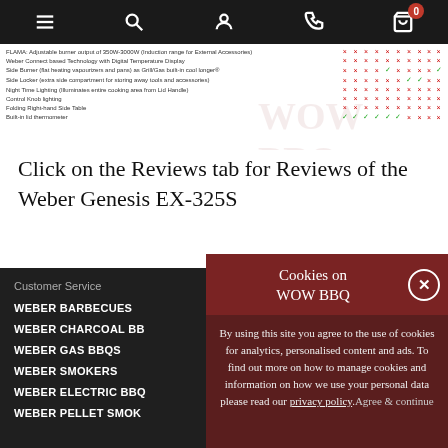Navigation bar with menu, search, account, phone, and cart (0) icons
| FLAMA: Adjustable burner output of 350W-3000W (Induction range for External Accessories) | × | × | × | × | × | × | × | × | × | × |
| Weber Connect based Technology with Digital Temperature Display | × | × | × | × | × | × | × | × | × | × |
| Side Burner (flat heating vapourizers and pans) as Grill/Gas built-in cool longer® | × | × | × | × | ✓ | × | × | × | × | ✓ |
| Side Locker (extra side compartment for storing away tools and accessories) | × | × | × | × | × | × | ✓ | ✓ | × | × |
| Night Time Lighting (Illuminates entire cooking area from Lid Handle) | × | × | × | × | × | × | × | × | × | × |
| Control Knob lighting | × | × | × | × | × | × | × | × | × | × |
| Folding Right-hand Side Table | × | × | × | × | × | × | × | × | × | × |
| Built-in lid thermometer | ✓ | ✓ | ✓ | ✓ | ✓ | ✓ | × | × | × | × |
Click on the Reviews tab for Reviews of the Weber Genesis EX-325S
Customer Service
WEBER BARBECUES
WEBER CHARCOAL BB...
WEBER GAS BBQS
WEBER SMOKERS
WEBER ELECTRIC BBQ...
WEBER PELLET SMOK...
Cookies on WOW BBQ
By using this site you agree to the use of cookies for analytics, personalised content and ads. To find out more on how to manage cookies and information on how we use your personal data please read our privacy policy. Agree & continue